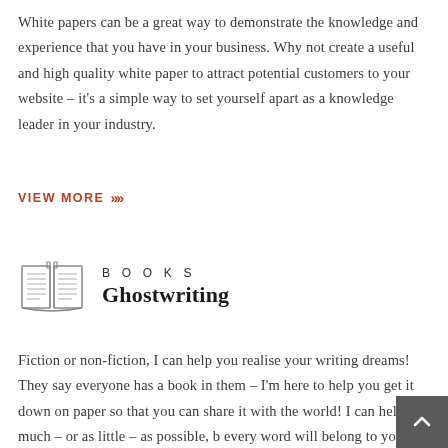White papers can be a great way to demonstrate the knowledge and experience that you have in your business. Why not create a useful and high quality white paper to attract potential customers to your website – it's a simple way to set yourself apart as a knowledge leader in your industry.
VIEW MORE »»
[Figure (illustration): Open book icon outline illustration]
BOOKS
Ghostwriting
Fiction or non-fiction, I can help you realise your writing dreams! They say everyone has a book in them – I'm here to help you get it down on paper so that you can share it with the world! I can help as much – or as little – as possible, b every word will belong to you!